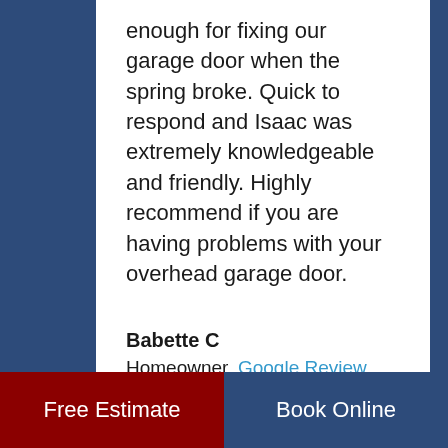enough for fixing our garage door when the spring broke. Quick to respond and Isaac was extremely knowledgeable and friendly. Highly recommend if you are having problems with your overhead garage door.
Babette C
Homeowner, Google Review
Free Estimate
Book Online